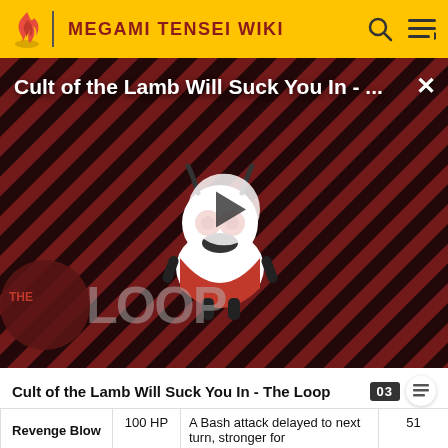MEGAMI TENSEI WIKI
[Figure (screenshot): Video thumbnail for 'Cult of the Lamb Will Suck You In - ...' showing a cartoon lamb character with THE LOOP branding, diagonal red and dark striped background, play button overlay.]
Cult of the Lamb Will Suck You In - The Loop
|  |  |  |  |
| --- | --- | --- | --- |
| Revenge Blow | 100 HP | A Bash attack delayed to next turn, stronger for | 51 |